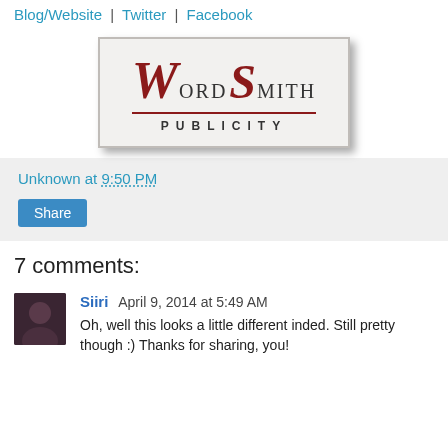Blog/Website | Twitter | Facebook
[Figure (logo): WordSmith Publicity logo — stylized W and S letters in dark red serif font with 'PUBLICITY' text below a horizontal rule, inside a bordered box with shadow]
Unknown at 9:50 PM
Share
7 comments:
Siiri  April 9, 2014 at 5:49 AM
Oh, well this looks a little different inded. Still pretty though :) Thanks for sharing, you!